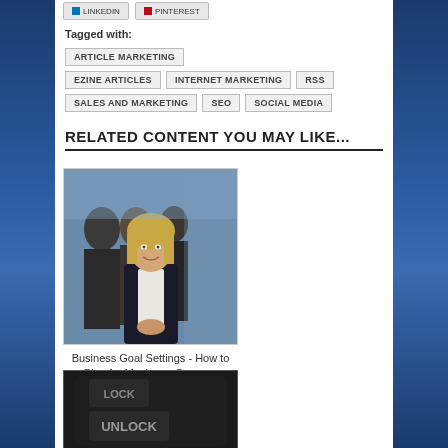Tagged with: ARTICLE MARKETING EZINE ARTICLES INTERNET MARKETING RSS SALES AND MARKETING SEO SOCIAL MEDIA
RELATED CONTENT YOU MAY LIKE...
[Figure (photo): Business professionals group photo with smiling blonde woman in foreground wearing dark blazer]
Business Goal Settings - How to Plan for Maximum Success
[Figure (photo): Dark keyboard with LOCK and UNLOCK keys visible]